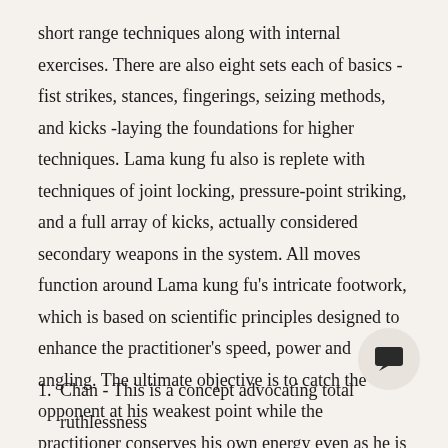short range techniques along with internal exercises. There are also eight sets each of basics - fist strikes, stances, fingerings, seizing methods, and kicks -laying the foundations for higher techniques. Lama kung fu also is replete with techniques of joint locking, pressure-point striking, and a full array of kicks, actually considered secondary weapons in the system. All moves function around Lama kung fu's intricate footwork, which is based on scientific principles designed to enhance the practitioner's speed, power and angling. The ultimate objective is to catch the opponent at his weakest point while the practitioner conserves his own energy even as he is in motion. The Lama stylist's training, both in philosophy and in application of technique, can th cataloged by four basic principles:
1.  Chan - This is a concept advocating total ruthlessness